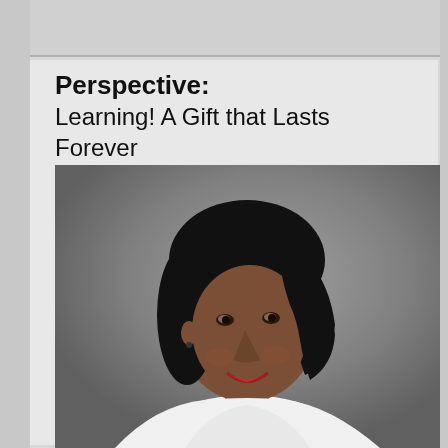Perspective: Learning! A Gift that Lasts Forever
[Figure (photo): Professional headshot of a smiling woman with a black bob hairstyle, wearing a white sleeveless top, photographed against a gray gradient background.]